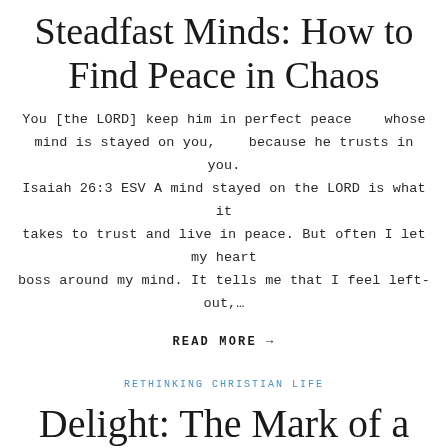Steadfast Minds: How to Find Peace in Chaos
You [the LORD] keep him in perfect peace    whose mind is stayed on you,    because he trusts in you. Isaiah 26:3 ESV A mind stayed on the LORD is what it takes to trust and live in peace. But often I let my heart boss around my mind. It tells me that I feel left-out,…
READ MORE →
RETHINKING CHRISTIAN LIFE
Delight: The Mark of a Godly Life